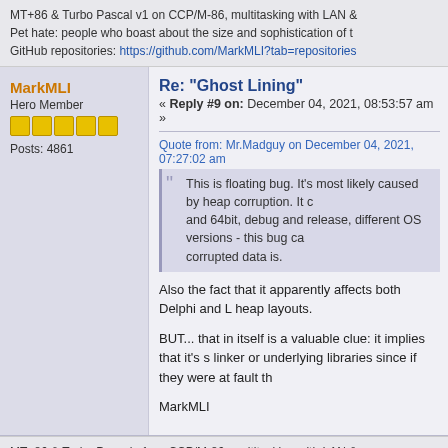MT+86 & Turbo Pascal v1 on CCP/M-86, multitasking with LAN &
Pet hate: people who boast about the size and sophistication of t
GitHub repositories: https://github.com/MarkMLI?tab=repositories
MarkMLI
Hero Member
Posts: 4861
Re: "Ghost Lining"
« Reply #9 on: December 04, 2021, 08:53:57 am »
Quote from: Mr.Madguy on December 04, 2021, 07:27:02 am
This is floating bug. It's most likely caused by heap corruption. It c and 64bit, debug and release, different OS versions - this bug ca corrupted data is.
Also the fact that it apparently affects both Delphi and L heap layouts.
BUT... that in itself is a valuable clue: it implies that it's s linker or underlying libraries since if they were at fault th
MarkMLI
MT+86 & Turbo Pascal v1 on CCP/M-86, multitasking with LAN &
Pet hate: people who boast about the size and sophistication of t
GitHub repositories: https://github.com/MarkMLI?tab=repositories